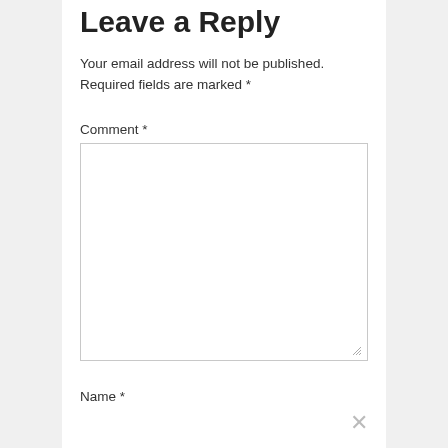Leave a Reply
Your email address will not be published. Required fields are marked *
Comment *
[Figure (other): Empty comment textarea input field with resize handle]
Name *
[Figure (other): Close/dismiss button (X symbol) at bottom right]